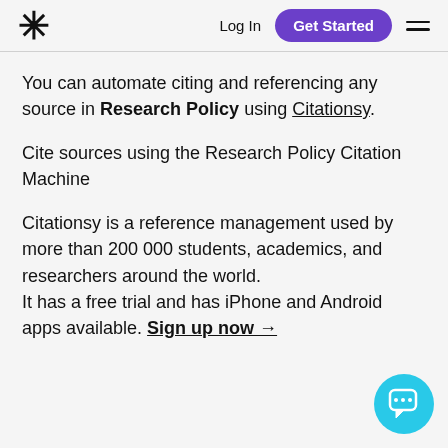* Log In  Get Started  ☰
You can automate citing and referencing any source in Research Policy using Citationsy.
Cite sources using the Research Policy Citation Machine
Citationsy is a reference management used by more than 200 000 students, academics, and researchers around the world.
It has a free trial and has iPhone and Android apps available. Sign up now →
[Figure (illustration): Cyan circular chat/messaging icon button in the bottom-right corner]